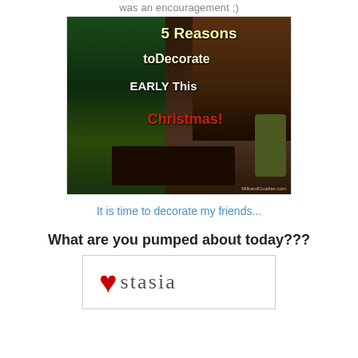was an encouragement ;)
[Figure (photo): Photo of a decorated living room at Christmas with a lit Christmas tree on the left, a fireplace with stockings on the right, and a dark wooden coffee table in the foreground. Overlay text reads '5 Reasons toDecorate EARLY This Christmas!' with watermark MilkandCuddles.com]
It is time to decorate my friends...
What are you pumped about today???
[Figure (illustration): Signature graphic with a red heart icon followed by the text 'stasia' in a light serif font on a white background with a border]